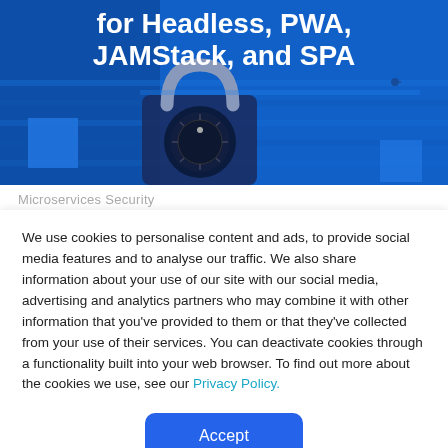[Figure (illustration): Blue banner image with a padlock/combination lock on a blue metal surface. Two lighter blue squares (decorative) visible: one lower-left and one lower-right. Title text overlaid: 'for Headless, PWA, JAMStack, and SPA']
Microservices Security
We use cookies to personalise content and ads, to provide social media features and to analyse our traffic. We also share information about your use of our site with our social media, advertising and analytics partners who may combine it with other information that you've provided to them or that they've collected from your use of their services. You can deactivate cookies through a functionality built into your web browser. To find out more about the cookies we use, see our Privacy Policy.
Accept